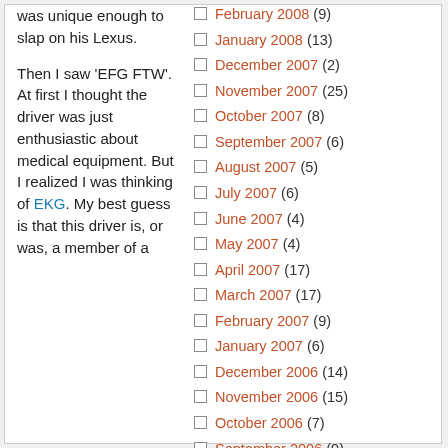was unique enough to slap on his Lexus.
Then I saw 'EFG FTW'. At first I thought the driver was just enthusiastic about medical equipment. But I realized I was thinking of EKG. My best guess is that this driver is, or was, a member of a
February 2008 (9)
January 2008 (13)
December 2007 (2)
November 2007 (25)
October 2007 (8)
September 2007 (6)
August 2007 (5)
July 2007 (6)
June 2007 (4)
May 2007 (4)
April 2007 (17)
March 2007 (17)
February 2007 (9)
January 2007 (6)
December 2006 (14)
November 2006 (15)
October 2006 (7)
September 2006 (9)